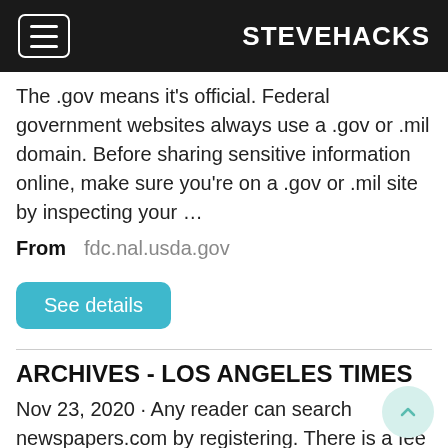STEVEHACKS
The .gov means it's official. Federal government websites always use a .gov or .mil domain. Before sharing sensitive information online, make sure you're on a .gov or .mil site by inspecting your …
From   fdc.nal.usda.gov
See details
ARCHIVES - LOS ANGELES TIMES
Nov 23, 2020 · Any reader can search newspapers.com by registering. There is a fee for seeing pages and other features. Papers from more than 30 days ago are available, all the way back to 1881.
From   latimes.com